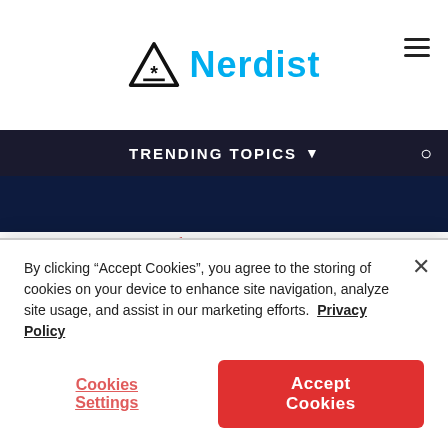Nerdist
[Figure (other): Dark blue image strip at the top of the article]
Thomas Dimson
What do you think about “this word does not exist”? Is this the coolest usage of GPT-2 you've seen, or are there are other tools based on the powerful AI that are better? Let us know your thoughts—in made-up or real words—in the comments!
By clicking “Accept Cookies”, you agree to the storing of cookies on your device to enhance site navigation, analyze site usage, and assist in our marketing efforts. Privacy Policy